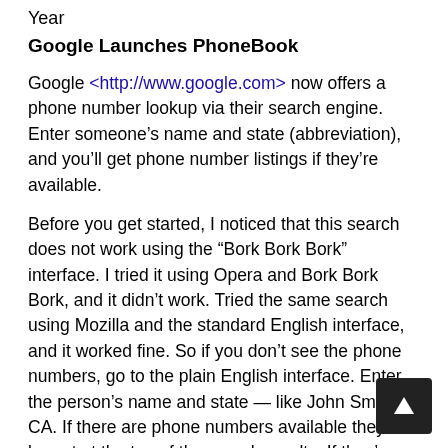Year
Google Launches PhoneBook
Google <http://www.google.com> now offers a phone number lookup via their search engine. Enter someone's name and state (abbreviation), and you'll get phone number listings if they're available.
Before you get started, I noticed that this search does not work using the “Bork Bork Bork” interface. I tried it using Opera and Bork Bork Bork, and it didn’t work. Tried the same search using Mozilla and the standard English interface, and it worked fine. So if you don’t see the phone numbers, go to the plain English interface. Enter the person’s name and state — like John Smith CA. If there are phone numbers available they will be put at the top of the search results. If they’re not, you’ll just get the Web results you’d normally get by searching for +John +Smith +CA.